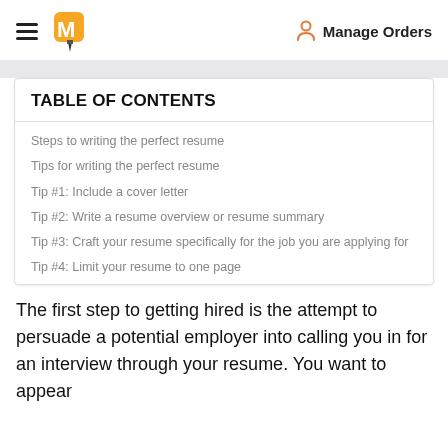Manage Orders
TABLE OF CONTENTS
Steps to writing the perfect resume
Tips for writing the perfect resume
Tip #1: Include a cover letter
Tip #2: Write a resume overview or resume summary
Tip #3: Craft your resume specifically for the job you are applying for
Tip #4: Limit your resume to one page
The first step to getting hired is the attempt to persuade a potential employer into calling you in for an interview through your resume. You want to appear